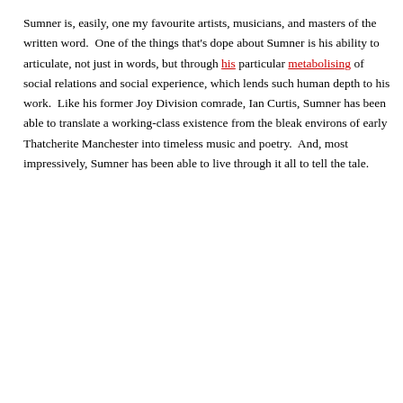and humanity.  (I'll have to say a word or two about the equally remarkable Johnny Marr, as time permits.  Essentially, all original scribbling at Lumpenproletariat.org is subject to ongoing drafts and woodshedding.  So, please check back over time, dear sangha.)
Sumner is, easily, one my favourite artists, musicians, and masters of the written word.  One of the things that's dope about Sumner is his ability to articulate, not just in words, but through his particular metabolising of social relations and social experience, which lends such human depth to his work.  Like his former Joy Division comrade, Ian Curtis, Sumner has been able to translate a working-class existence from the bleak environs of early Thatcherite Manchester into timeless music and poetry.  And, most impressively, Sumner has been able to live through it all to tell the tale.